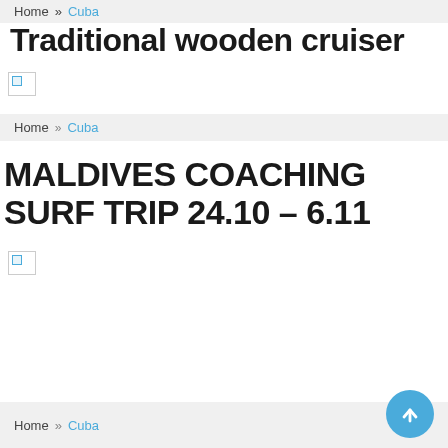Home » Cuba
Traditional wooden cruiser
[Figure (photo): Broken/missing image placeholder for Traditional wooden cruiser]
Home » Cuba
MALDIVES COACHING SURF TRIP 24.10 – 6.11
[Figure (photo): Broken/missing image placeholder for Maldives coaching surf trip]
Home » Cuba